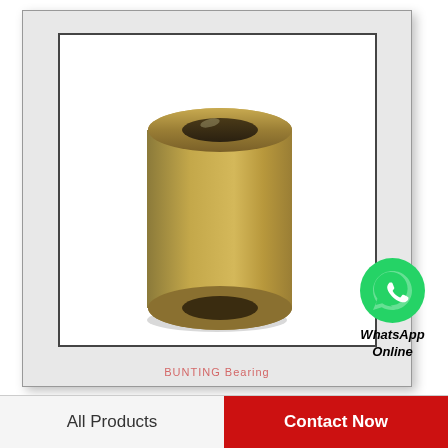[Figure (photo): Bronze/brass cylindrical bushing bearing (BUNTING Bearing brand) shown in a double-framed product image display. The bearing is a hollow cylinder with a golden/brass color, shown at slight angle. Watermark text 'BUNTING Bearing' appears at the bottom of the image area.]
[Figure (logo): WhatsApp phone icon (green circle with white telephone handset) with text 'WhatsApp Online' in bold italic below it]
BUNTING BEARINGS DPEP070920 Bearings
All Products
Contact Now